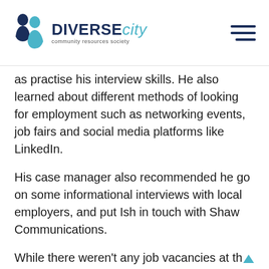DiverseCity community resources society
as practise his interview skills. He also learned about different methods of looking for employment such as networking events, job fairs and social media platforms like LinkedIn.
His case manager also recommended he go on some informational interviews with local employers, and put Ish in touch with Shaw Communications.
While there weren't any job vacancies at the time, Ish had impressed his interviewer; so much so that a position as an in-home